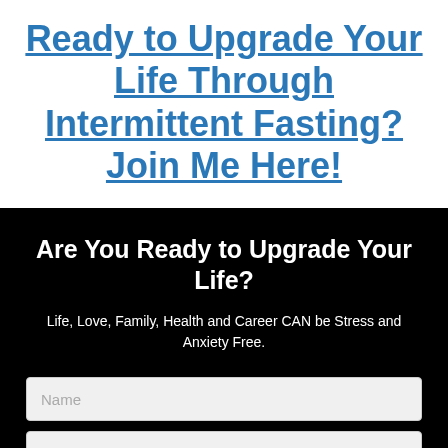Ready to Upgrade Your Life Through Intermittent Fasting? Join Me Here!
Are You Ready to Upgrade Your Life?
Life, Love, Family, Health and Career CAN be Stress and Anxiety Free.
[Figure (other): Name input field (placeholder text: Name)]
[Figure (other): Second input field (partially visible at bottom)]